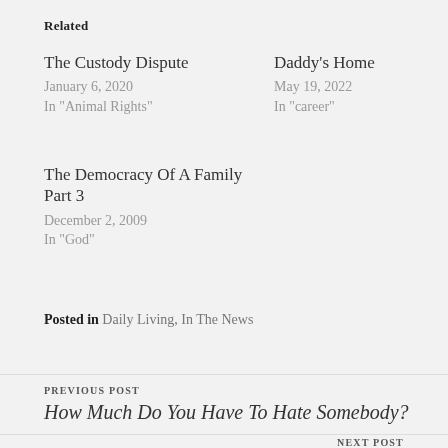Related
The Custody Dispute
January 6, 2020
In "Animal Rights"
Daddy's Home
May 19, 2022
In "career"
The Democracy Of A Family Part 3
December 2, 2009
In "God"
Posted in Daily Living, In The News
PREVIOUS POST
How Much Do You Have To Hate Somebody?
NEXT POST